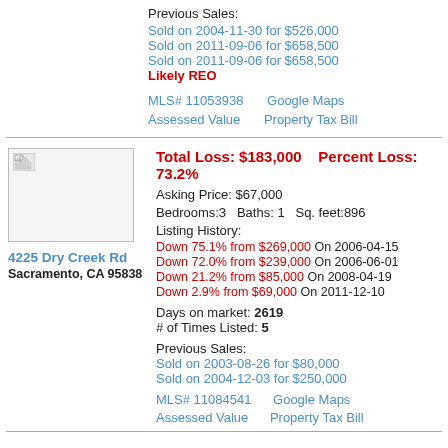Previous Sales:
Sold on 2004-11-30 for $526,000
Sold on 2011-09-06 for $658,500
Sold on 2011-09-06 for $658,500
Likely REO
MLS# 11053938   Google Maps
Assessed Value   Property Tax Bill
[Figure (photo): Property photo thumbnail placeholder for 4225 Dry Creek Rd]
Total Loss: $183,000    Percent Loss: 73.2%
Asking Price: $67,000
Bedrooms:3   Baths: 1   Sq. feet:896
Listing History:
Down 75.1% from $269,000 On 2006-04-15
Down 72.0% from $239,000 On 2006-06-01
Down 21.2% from $85,000 On 2008-04-19
Down 2.9% from $69,000 On 2011-12-10
Days on market: 2619
# of Times Listed: 5
Previous Sales:
Sold on 2003-08-26 for $80,000
Sold on 2004-12-03 for $250,000
MLS# 11084541   Google Maps
Assessed Value   Property Tax Bill
4225 Dry Creek Rd
Sacramento, CA 95838